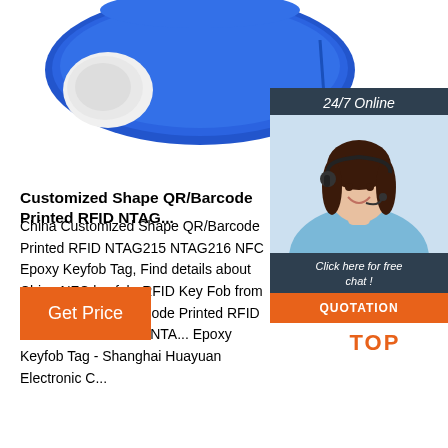[Figure (photo): Blue RFID NFC epoxy keyfob tag with white earpiece-shaped attachment, product photo on white background]
[Figure (photo): 24/7 Online chat widget showing a customer service representative woman wearing a headset, with dark teal background, 'Click here for free chat!' text and orange QUOTATION button]
Customized Shape QR/Barcode Printed RFID NTAG...
China Customized Shape QR/Barcode Printed RFID NTAG215 NTAG216 NFC Epoxy Keyfob Tag, Find details about China NFC keyfob, RFID Key Fob from Customized QR/Barcode Printed RFID NTAG213 NTAG215 NTA... Epoxy Keyfob Tag - Shanghai Huayuan Electronic C...
Get Price
[Figure (illustration): Orange TOP button with dotted arrow pointing up]